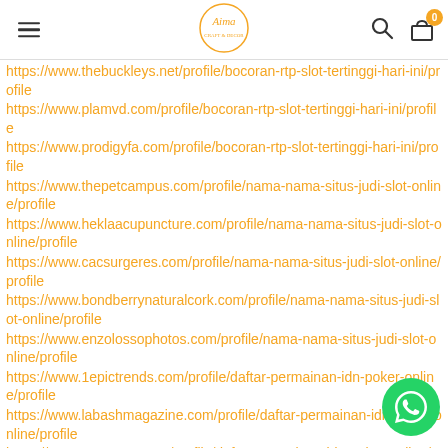Aima logo with menu icon, search icon, and cart icon showing 0
https://www.thebuckleys.net/profile/bocoran-rtp-slot-tertinggi-hari-ini/profile
https://www.plamvd.com/profile/bocoran-rtp-slot-tertinggi-hari-ini/profile
https://www.prodigyfa.com/profile/bocoran-rtp-slot-tertinggi-hari-ini/profile
https://www.thepetcampus.com/profile/nama-nama-situs-judi-slot-online/profile
https://www.heklaacupuncture.com/profile/nama-nama-situs-judi-slot-online/profile
https://www.cacsurgeres.com/profile/nama-nama-situs-judi-slot-online/profile
https://www.bondberrynaturalcork.com/profile/nama-nama-situs-judi-slot-online/profile
https://www.enzolossophotos.com/profile/nama-nama-situs-judi-slot-online/profile
https://www.1epictrends.com/profile/daftar-permainan-idn-poker-online/profile
https://www.labashmagazine.com/profile/daftar-permainan-idn-poker-online/profile
https://www.mpets-sg.com/profile/daftar-permainan-idn-poker-online/profile